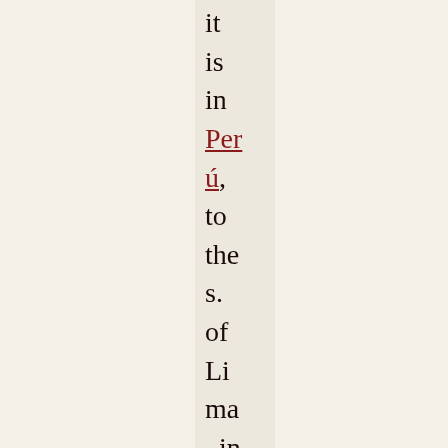it is in Perú, to the s. of Lima, in the province of Condesu